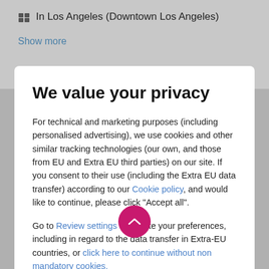In Los Angeles (Downtown Los Angeles)
Show more
We value your privacy
For technical and marketing purposes (including personalised advertising), we use cookies and other similar tracking technologies (our own, and those from EU and Extra EU third parties) on our site. If you consent to their use (including the Extra EU data transfer) according to our Cookie policy, and would like to continue, please click "Accept all".
Go to Review settings to update your preferences, including in regard to the data transfer in Extra-EU countries, or click here to continue without non mandatory cookies.
ACCEPT ALL
[Figure (photo): Dark photo visible behind/below the modal dialog at the bottom of the page, with a pink circular scroll-up button overlay]